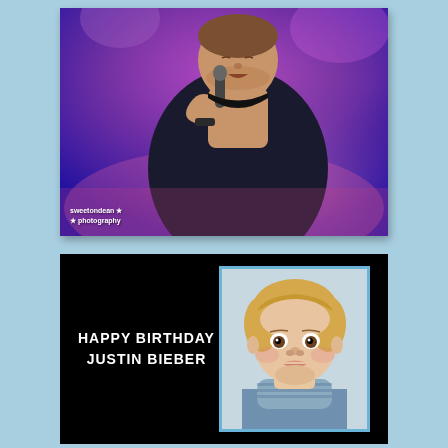[Figure (photo): A man singing into a microphone on stage, lit by purple/magenta stage lighting, wearing a dark t-shirt and wristband. Watermark reads 'sweetondean ★ ★ photography' in bottom left corner.]
[Figure (photo): A black card with text 'HAPPY BIRTHDAY JUSTIN BIEBER' in white bold font on the left, and a framed portrait photo of a blonde baby/toddler on the right.]